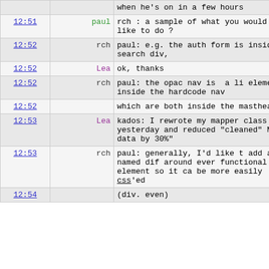| time | user | message |
| --- | --- | --- |
|  |  | when he's on in a few hours |
| 12:51 | paul | rch : a sample of what you would like to do ? |
| 12:52 | rch | paul: e.g. the auth form is inside a search div, |
| 12:52 | Lea | ok, thanks |
| 12:52 | rch | paul: the opac nav is  a li element inside the hardcoded nav |
| 12:52 |  | which are both inside the masthead. |
| 12:53 | Lea | kados: I rewrote my mapper class yesterday and reduced "cleaned" MARC data by 30%" |
| 12:53 | rch | paul: generally, I'd like to add a named dif around every functional element so it ca be more easily CSS'ed |
| 12:54 |  | (div. even) |